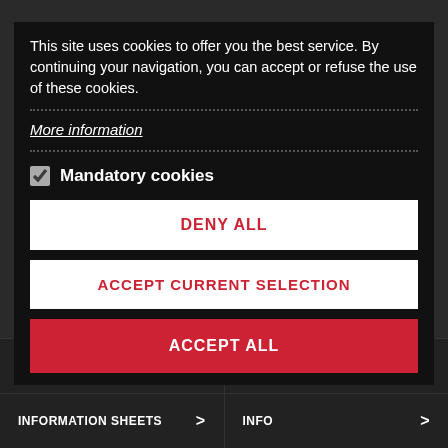This site uses cookies to offer you the best service. By continuing your navigation, you can accept or refuse the use of these cookies.
More information
Mandatory cookies
DENY ALL
ACCEPT CURRENT SELECTION
ACCEPT ALL
OUR PRODUCTS >
MY ACCOUNT >
INFORMATION SHEETS >
INFO >